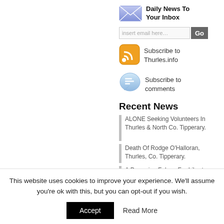[Figure (screenshot): Vertical text spelling 'nceremoyne r' rotated 90 degrees, large bold serif font, part of a website sidebar or article title]
[Figure (screenshot): Email subscription widget with envelope icon, 'Daily News To Your Inbox' heading, email input field with 'insert email here...' placeholder, Go button, RSS subscribe icon with 'Subscribe to Thurles.info', comment bubble icon with 'Subscribe to comments']
Recent News
ALONE Seeking Volunteers In Thurles & North Co. Tipperary.
Death Of Rodge O'Halloran, Thurles, Co. Tipperary.
A Peregrine Falcon For Liberty Square, Thurles, Co. Tipperary.
Death Of Nelly (Ellen)...
This website uses cookies to improve your experience. We'll assume you're ok with this, but you can opt-out if you wish.
Accept   Read More